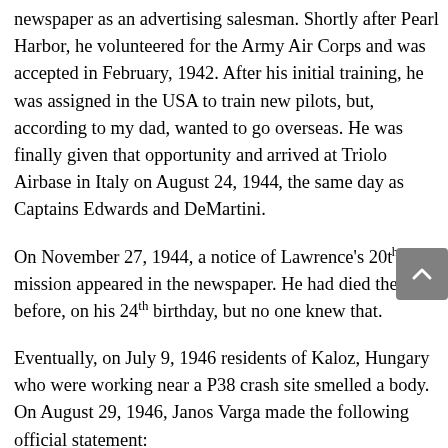newspaper as an advertising salesman. Shortly after Pearl Harbor, he volunteered for the Army Air Corps and was accepted in February, 1942. After his initial training, he was assigned in the USA to train new pilots, but, according to my dad, wanted to go overseas. He was finally given that opportunity and arrived at Triolo Airbase in Italy on August 24, 1944, the same day as Captains Edwards and DeMartini.
On November 27, 1944, a notice of Lawrence's 20th mission appeared in the newspaper. He had died the day before, on his 24th birthday, but no one knew that.
Eventually, on July 9, 1946 residents of Kaloz, Hungary who were working near a P38 crash site smelled a body. On August 29, 1946, Janos Varga made the following official statement:
“Undersigned Janos Varga, 33 years old, inhabita...